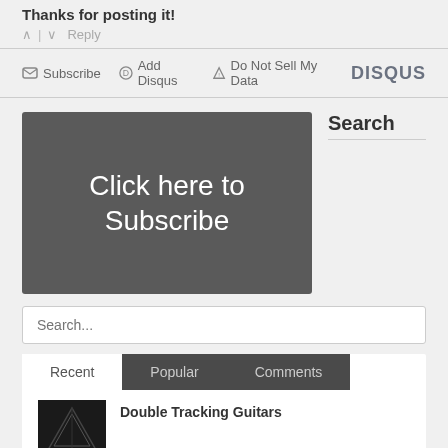Thanks for posting it!
^ | v   Reply
Subscribe | Add Disqus | Do Not Sell My Data | DISQUS
[Figure (screenshot): Dark grey subscription button with white text 'Click here to Subscribe']
Search
Search...
Recent | Popular | Comments
Double Tracking Guitars
[Figure (photo): Small dark thumbnail image with geometric/guitar-related design]